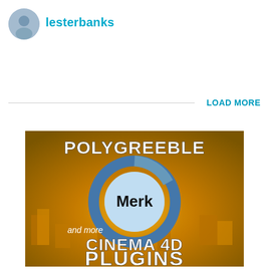[Figure (photo): Round user avatar photo showing a person]
lesterbanks
LOAD MORE
[Figure (illustration): Advertisement banner for Cinema 4D plugins showing text 'POLYGREEBLE' at top, a blue circular logo with text 'Merk' in center, 'and more' text, and 'CINEMA 4D PLUGINS' at bottom, all over a golden 3D rendered cityscape background]